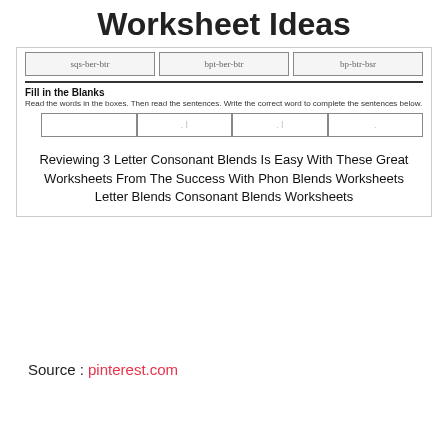Worksheet Ideas
[Figure (screenshot): Worksheet screenshot showing word boxes at top (sqs-ber-btr, bpt-ber-btr, bp-btr-bsr), a horizontal rule, a Fill in the Blanks section with instructions and blank answer boxes.]
Reviewing 3 Letter Consonant Blends Is Easy With These Great Worksheets From The Success With Phon Blends Worksheets Letter Blends Consonant Blends Worksheets
Source : pinterest.com